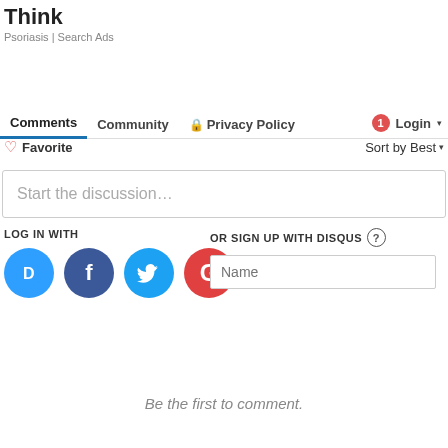Think
Psoriasis | Search Ads
Comments   Community   🔒 Privacy Policy   1  Login ▾
♡ Favorite   Sort by Best ▾
Start the discussion…
LOG IN WITH
OR SIGN UP WITH DISQUS  ?
Name
Be the first to comment.